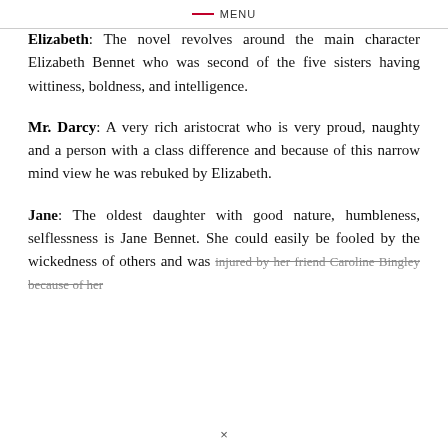MENU
Elizabeth: The novel revolves around the main character Elizabeth Bennet who was second of the five sisters having wittiness, boldness, and intelligence.
Mr. Darcy: A very rich aristocrat who is very proud, naughty and a person with a class difference and because of this narrow mind view he was rebuked by Elizabeth.
Jane: The oldest daughter with good nature, humbleness, selflessness is Jane Bennet. She could easily be fooled by the wickedness of others and was injured by her friend Caroline Bingley because of her
×